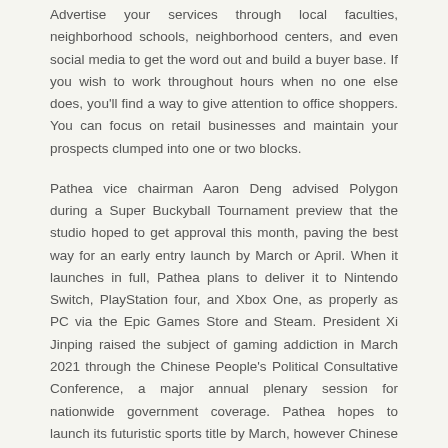Advertise your services through local faculties, neighborhood schools, neighborhood centers, and even social media to get the word out and build a buyer base. If you wish to work throughout hours when no one else does, you'll find a way to give attention to office shoppers. You can focus on retail businesses and maintain your prospects clumped into one or two blocks.
Pathea vice chairman Aaron Deng advised Polygon during a Super Buckyball Tournament preview that the studio hoped to get approval this month, paving the best way for an early entry launch by March or April. When it launches in full, Pathea plans to deliver it to Nintendo Switch, PlayStation four, and Xbox One, as properly as PC via the Epic Games Store and Steam. President Xi Jinping raised the subject of gaming addiction in March 2021 through the Chinese People's Political Consultative Conference, a major annual plenary session for nationwide government coverage. Pathea hopes to launch its futuristic sports title by March, however Chinese …